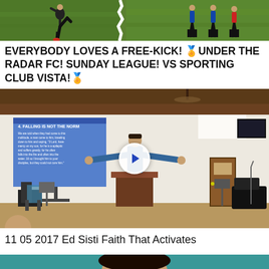[Figure (photo): Soccer/football players on a grass field, image torn in two parts showing a player kicking and other players standing]
EVERYBODY LOVES A FREE-KICK! 🏈UNDER THE RADAR FC! SUNDAY LEAGUE! VS SPORTING CLUB VISTA!🏈
[Figure (photo): Church service video thumbnail showing a preacher with arms spread wide at a podium, with a blue presentation slide visible on screen, play button overlay in center]
11 05 2017 Ed Sisti Faith That Activates
[Figure (photo): Partial view of person's head against teal/green background, cropped at bottom of page]